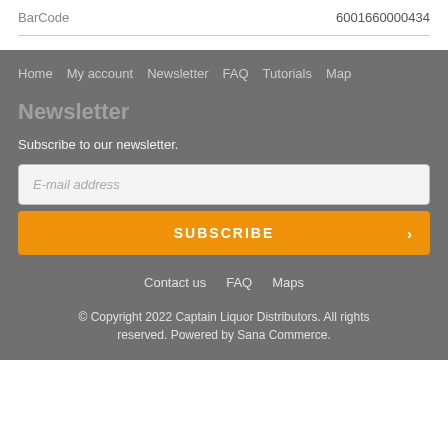|  |  |
| --- | --- |
| BarCode | 6001660000434 |
Home  My account  Newsletter  FAQ  Tutorials  Map
Newsletter
Subscribe to our newsletter.
E-mail address
SUBSCRIBE
Contact us  FAQ  Maps
© Copyright 2022 Captain Liquor Distributors. All rights reserved. Powered by Sana Commerce.